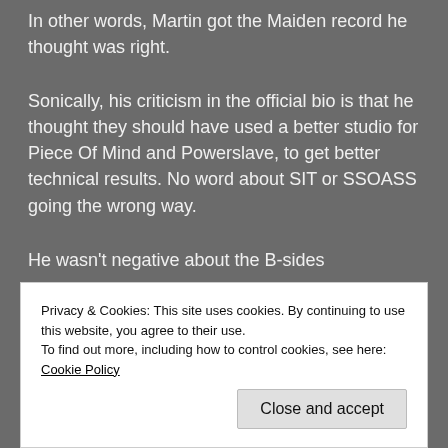In other words, Martin got the Maiden record he thought was right.
Sonically, his criticism in the official bio is that he thought they should have used a better studio for Piece Of Mind and Powerslave, to get better technical results. No word about SIT or SSOASS going the wrong way.
He wasn't negative about the B-sides
Privacy & Cookies: This site uses cookies. By continuing to use this website, you agree to their use.
To find out more, including how to control cookies, see here: Cookie Policy
Close and accept